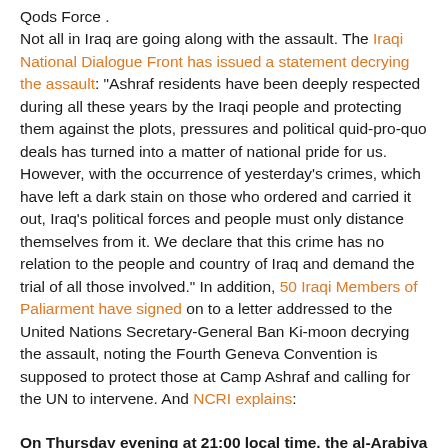Qods Force . Not all in Iraq are going along with the assault. The Iraqi National Dialogue Front has issued a statement decrying the assault: "Ashraf residents have been deeply respected during all these years by the Iraqi people and protecting them against the plots, pressures and political quid-pro-quo deals has turned into a matter of national pride for us. However, with the occurrence of yesterday's crimes, which have left a dark stain on those who ordered and carried it out, Iraq's political forces and people must only distance themselves from it. We declare that this crime has no relation to the people and country of Iraq and demand the trial of all those involved." In addition, 50 Iraqi Members of Paliarment have signed on to a letter addressed to the United Nations Secretary-General Ban Ki-moon decrying the assault, noting the Fourth Geneva Convention is supposed to protect those at Camp Ashraf and calling for the UN to intervene. And NCRI explains:
On Thursday evening at 21:00 local time, the al-Arabiya TV channel reported that Mr. Tariq al-Hashemi, the Iraqi Deputy President, wrote a letter to members of the